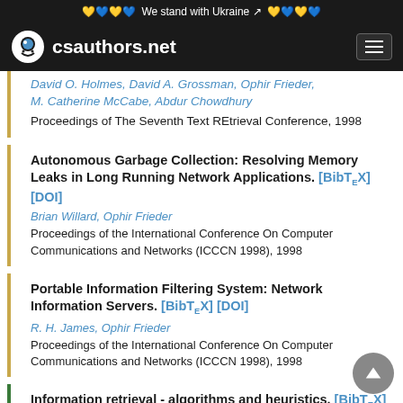We stand with Ukraine
csauthors.net
David O. Holmes, David A. Grossman, Ophir Frieder, M. Catherine McCabe, Abdur Chowdhury
Proceedings of The Seventh Text REtrieval Conference, 1998
Autonomous Garbage Collection: Resolving Memory Leaks in Long Running Network Applications. [BibTeX] [DOI]
Brian Willard, Ophir Frieder
Proceedings of the International Conference On Computer Communications and Networks (ICCCN 1998), 1998
Portable Information Filtering System: Network Information Servers. [BibTeX] [DOI]
R. H. James, Ophir Frieder
Proceedings of the International Conference On Computer Communications and Networks (ICCCN 1998), 1998
Information retrieval - algorithms and heuristics. [BibTeX]
David A. Grossman, Ophir Frieder